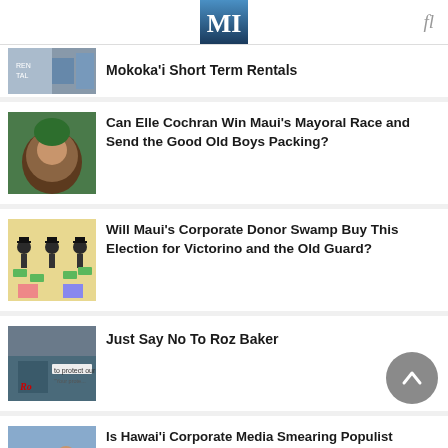MI
Mokoka'i Short Term Rentals
Can Elle Cochran Win Maui's Mayoral Race and Send the Good Old Boys Packing?
Will Maui's Corporate Donor Swamp Buy This Election for Victorino and the Old Guard?
Just Say No To Roz Baker
Is Hawai'i Corporate Media Smearing Populist Kaniela Ing to Prevent Ocasio-Cortez-Style Upset?